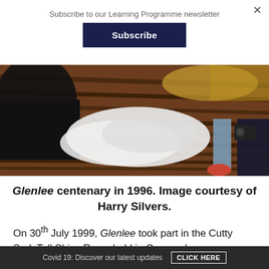Subscribe to our Learning Programme newsletter
Subscribe
[Figure (photo): Close-up photo of wooden deck planks on a tall ship, with white lace fabric, a black barrel, and people's feet/legs visible. A person on the right holds a camera.]
Glenlee centenary in 1996. Image courtesy of Harry Silvers.
On 30th July 1999, Glenlee took part in the Cutty Sark Tall Ships Race, held in Greenock.
Covid 19: Discover our latest updates   CLICK HERE